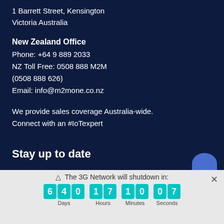1 Barrett Street, Kensington
Victoria Australia
New Zealand Office
Phone: +64 9 889 2033
NZ Toll Free: 0508 888 M2M
(0508 888 626)
Email: info@m2mone.co.nz
We provide sales coverage Australia-wide.
Connect with an #IoTexpert
Stay up to date
△ The 3G Network will shutdown in:
640 Days  17 Hours  10 Minutes  07 Seconds